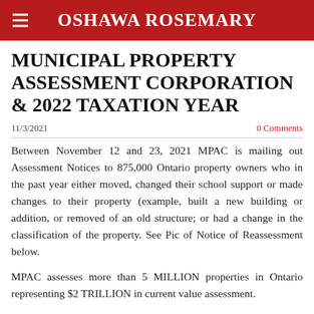OSHAWA ROSEMARY
MUNICIPAL PROPERTY ASSESSMENT CORPORATION & 2022 TAXATION YEAR
11/3/2021
0 Comments
Between November 12 and 23, 2021 MPAC is mailing out Assessment Notices to 875,000 Ontario property owners who in the past year either moved, changed their school support or made changes to their property (example, built a new building or addition, or removed of an old structure; or had a change in the classification of the property. See Pic of Notice of Reassessment below.
MPAC assesses more than 5 MILLION properties in Ontario representing $2 TRILLION in current value assessment.